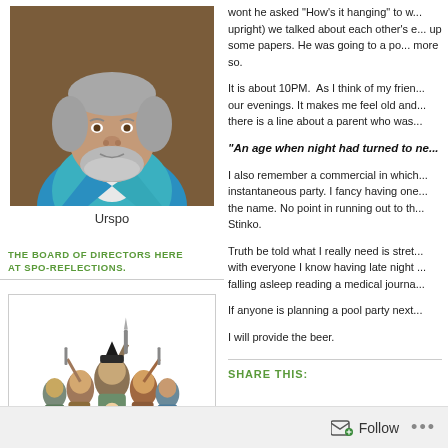[Figure (photo): Portrait photo of a middle-aged man with gray hair and beard wearing a blue jacket, against a brown background]
Urspo
THE BOARD OF DIRECTORS HERE AT SPO-REFLECTIONS.
[Figure (illustration): Illustrated group of fantasy/cartoon characters clustered together in a V-shape formation]
wont he asked "How's it hanging" to w... upright) we talked about each other's e... up some papers. He was going to a po... more so.
It is about 10PM.  As I think of my frien... our evenings. It makes me feel old and... there is a line about a parent who was...
“An age when night had turned to ne...
I also remember a commercial in which... instantaneous party. I fancy having one... the name. No point in running out to th... Stinko.
Truth be told what I really need is stret... with everyone I know having late night ... falling asleep reading a medical journa...
If anyone is planning a pool party next...
I will provide the beer.
SHARE THIS:
Follow ...